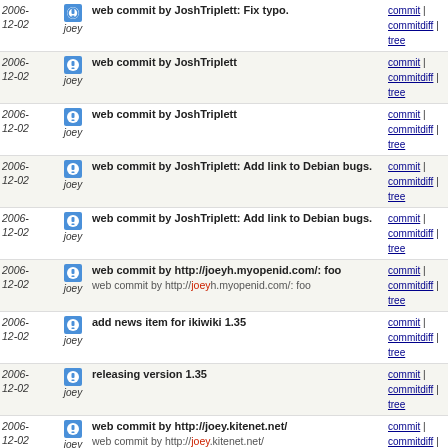2006-12-02 | joey | web commit by JoshTriplett: Fix typo. | commit | commitdiff | tree
2006-12-02 | joey | web commit by JoshTriplett | commit | commitdiff | tree
2006-12-02 | joey | web commit by JoshTriplett | commit | commitdiff | tree
2006-12-02 | joey | web commit by JoshTriplett: Add link to Debian bugs. | commit | commitdiff | tree
2006-12-02 | joey | web commit by JoshTriplett: Add link to Debian bugs. | commit | commitdiff | tree
2006-12-02 | joey | web commit by http://joeyh.myopenid.com/: foo / web commit by http://joeyh.myopenid.com/: foo | commit | commitdiff | tree
2006-12-02 | joey | add news item for ikiwiki 1.35 | commit | commitdiff | tree
2006-12-02 | joey | releasing version 1.35 | commit | commitdiff | tree
2006-12-02 | joey | web commit by http://joey.kitenet.net/ / web commit by http://joey.kitenet.net/ | commit | commitdiff | tree
2006-12-02 | joey | * The hack used to make the pagetemplate hook have... | commit | commitdiff | tree
2006-12-02 | joey | * Fix daemonisation code to only do daemon setup things... | commit | commitdiff | tree
2006-11-28 | joey | web commit from 74.6.87.72: poll vote | commit | commitdiff | tree